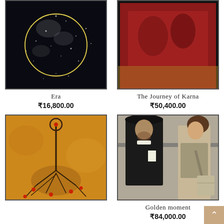[Figure (illustration): Abstract dark painting with white speckles and a yellow circle outline, titled Era]
Era
₹16,800.00
[Figure (illustration): Painting of The Journey of Karna, partially visible at top]
The Journey of Karna
₹50,400.00
[Figure (illustration): Abstract painting with orange/yellow background, a long vertical black stem with a ring on top and red dots at the bottom, like roots]
Roots
[Figure (illustration): Realistic painting of a woman with a bag looking at a man in a black hat and coat, titled Golden moment]
Golden moment
₹84,000.00